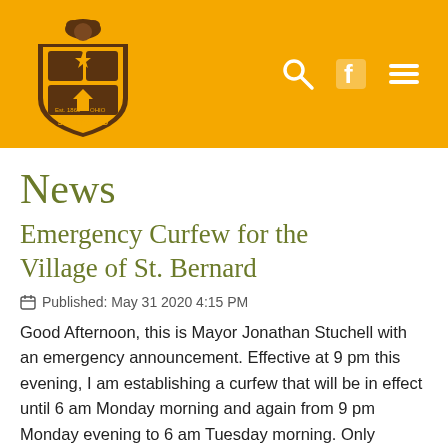[Figure (logo): St. Bernard village shield logo with a Saint Bernard dog on top, brown and gold colors, on a yellow/gold header bar with navigation icons (search, Facebook, hamburger menu) on the right]
News
Emergency Curfew for the Village of St. Bernard
Published: May 31 2020 4:15 PM
Good Afternoon, this is Mayor Jonathan Stuchell with an emergency announcement.  Effective at 9 pm this evening, I am establishing a curfew that will be in effect until 6 am Monday morning and again from 9 pm Monday evening to 6 am Tuesday morning.  Only people who have essential reasons to be out such as individuals who are working, medical personal,